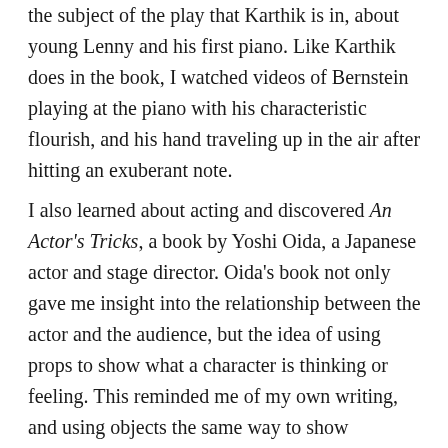the subject of the play that Karthik is in, about young Lenny and his first piano. Like Karthik does in the book, I watched videos of Bernstein playing at the piano with his characteristic flourish, and his hand traveling up in the air after hitting an exuberant note.
I also learned about acting and discovered An Actor's Tricks, a book by Yoshi Oida, a Japanese actor and stage director. Oida's book not only gave me insight into the relationship between the actor and the audience, but the idea of using props to show what a character is thinking or feeling. This reminded me of my own writing, and using objects the same way to show relationships between people. For example, the mangos that Karthik delivers to Mrs. Rodrigues, ones